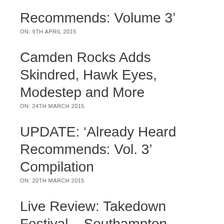Recommends: Volume 3’
ON:  9TH APRIL 2015
Camden Rocks Adds Skindred, Hawk Eyes, Modestep and More
ON:  24TH MARCH 2015
UPDATE: ‘Already Heard Recommends: Vol. 3’ Compilation
ON:  20TH MARCH 2015
Live Review: Takedown Festival – Southampton University – 07/03/2015
ON:  12TH MARCH 2015
Album Review: Hawk Eyes –